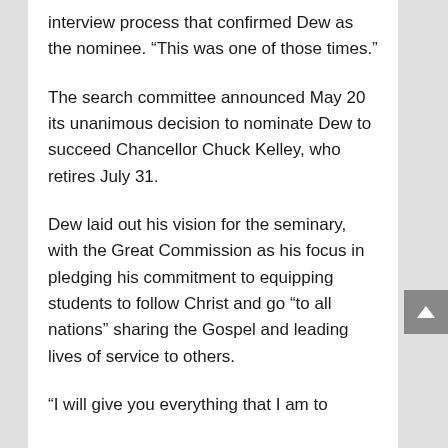interview process that confirmed Dew as the nominee. “This was one of those times.”
The search committee announced May 20 its unanimous decision to nominate Dew to succeed Chancellor Chuck Kelley, who retires July 31.
Dew laid out his vision for the seminary, with the Great Commission as his focus in pledging his commitment to equipping students to follow Christ and go “to all nations” sharing the Gospel and leading lives of service to others.
“I will give you everything that I am to